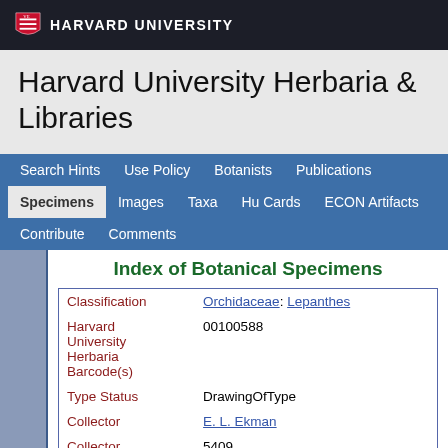HARVARD UNIVERSITY
Harvard University Herbaria & Libraries
Search Hints | Use Policy | Botanists | Publications | Specimens | Images | Taxa | Hu Cards | ECON Artifacts | Contribute | Comments
Index of Botanical Specimens
| Field | Value |
| --- | --- |
| Classification | Orchidaceae: Lepanthes |
| Harvard University Herbaria Barcode(s) | 00100588 |
| Type Status | DrawingOfType |
| Collector | E. L. Ekman |
| Collector number | 5409 |
| Country | Cuba |